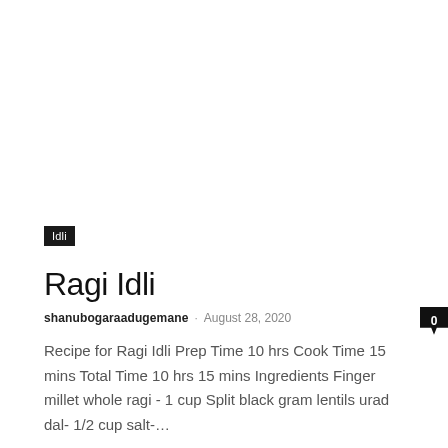Idli
Ragi Idli
shanubogaraadugemane · August 28, 2020  0
Recipe for Ragi Idli Prep Time 10 hrs Cook Time 15 mins Total Time 10 hrs 15 mins Ingredients Finger millet whole ragi - 1 cup Split black gram lentils urad dal- 1/2 cup salt-…